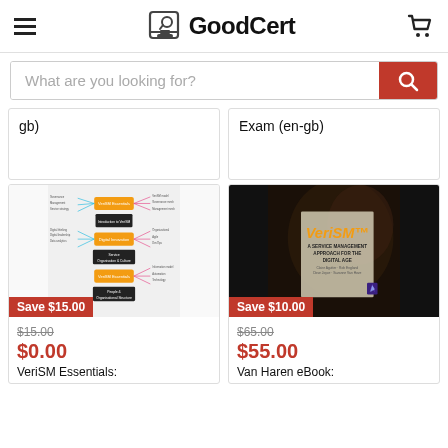GoodCert
What are you looking for?
gb)
Exam (en-gb)
[Figure (illustration): VeriSM Essentials mind map diagram with orange and black boxes connected by colored lines showing service management concepts]
[Figure (photo): VeriSM book cover: 'VeriSM™ A SERVICE MANAGEMENT APPROACH FOR THE DIGITAL AGE' on dark background with orange title text]
Save $15.00
Save $10.00
$15.00
$65.00
$0.00
$55.00
VeriSM Essentials:
Van Haren eBook: